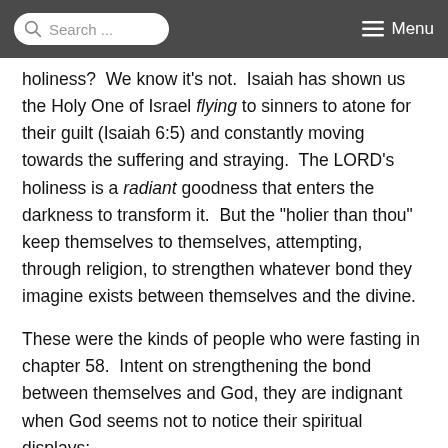Search ... Menu
holiness?  We know it's not.  Isaiah has shown us the Holy One of Israel flying to sinners to atone for their guilt (Isaiah 6:5) and constantly moving towards the suffering and straying.  The LORD's holiness is a radiant goodness that enters the darkness to transform it.  But the "holier than thou" keep themselves to themselves, attempting, through religion, to strengthen whatever bond they imagine exists between themselves and the divine.

These were the kinds of people who were fasting in chapter 58.  Intent on strengthening the bond between themselves and God, they are indignant when God seems not to notice their spiritual displays: